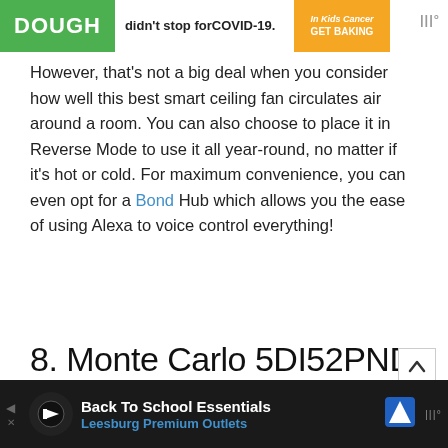[Figure (screenshot): Top advertisement banner: green 'DOUGH' text on left, 'didn't stop for COVID-19.' in center, orange 'In Kids Cancer GET BAKING' on right, mute icon top right]
However, that's not a big deal when you consider how well this best smart ceiling fan circulates air around a room. You can also choose to place it in Reverse Mode to use it all year-round, no matter if it's hot or cold. For maximum convenience, you can even opt for a Bond Hub which allows you the ease of using Alexa to voice control everything!
8. Monte Carlo 5DI52PND
[Figure (photo): White empty image placeholder box for Monte Carlo 5DI52PND product image]
[Figure (screenshot): Bottom advertisement banner (dark background): Back To School Essentials, Leesburg Premium Outlets, with logo icons and mute button]